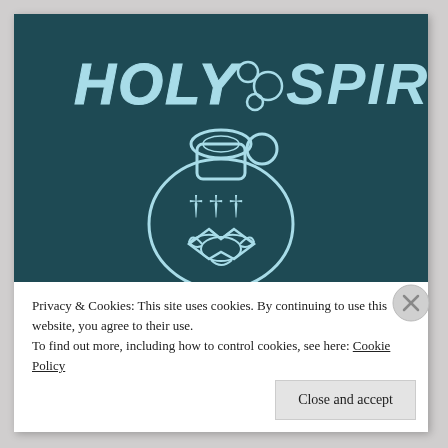[Figure (illustration): Dark teal background image with 'HOLY SPIRIT' text in white bubbly/playful font, with bubble circles between the words. Below the text is an illustration of a round bottle/jug with a stopper, containing three crosses (†††) and a dove/bird symbol. The overall style is a hand-drawn cartoon on a dark teal/dark slate background.]
Privacy & Cookies: This site uses cookies. By continuing to use this website, you agree to their use.
To find out more, including how to control cookies, see here: Cookie Policy